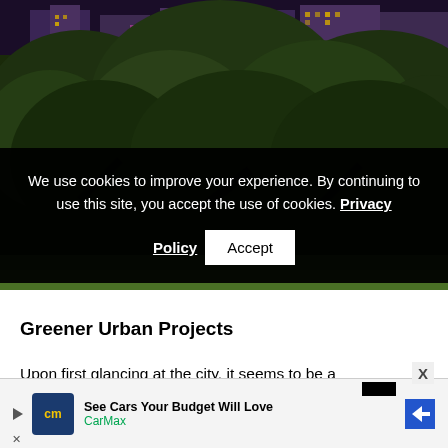[Figure (photo): City skyline at night with large oak trees in foreground, buildings with lights visible behind trees]
We use cookies to improve your experience. By continuing to use this site, you accept the use of cookies. Privacy Policy
Accept
Greener Urban Projects
Upon first glancing at the city, it seems to be a
[Figure (screenshot): Advertisement banner: See Cars Your Budget Will Love - CarMax]